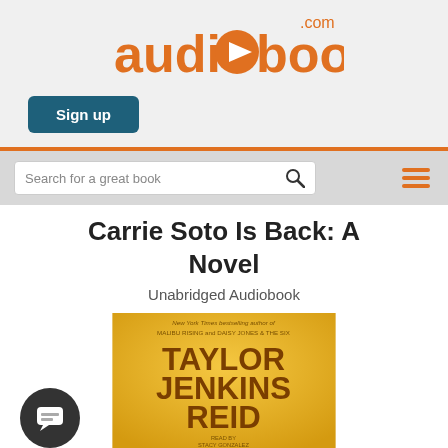[Figure (logo): audiobooks.com logo in orange with a play button icon inside the letter 'o']
Sign up
[Figure (screenshot): Search bar with placeholder text 'Search for a great book', a search icon button, and a hamburger menu icon]
Carrie Soto Is Back: A Novel
Unabridged Audiobook
[Figure (photo): Book cover for 'Carrie Soto Is Back' by Taylor Jenkins Reid on a gold/yellow background. Text reads: New York Times bestselling author of MALIBU RISING and DAISY JONES & THE SIX. TAYLOR JENKINS REID. READ BY STACY GONZALEZ.]